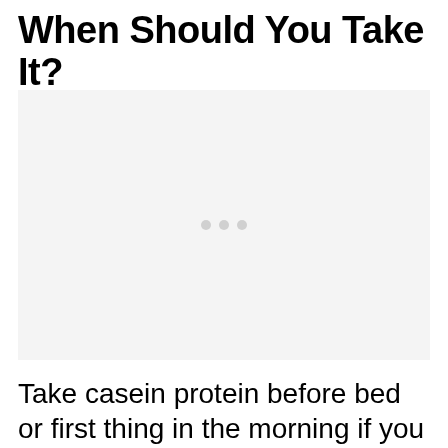When Should You Take It?
[Figure (photo): Placeholder image with loading dots indicator on light gray background]
Take casein protein before bed or first thing in the morning if you can't stomach real food